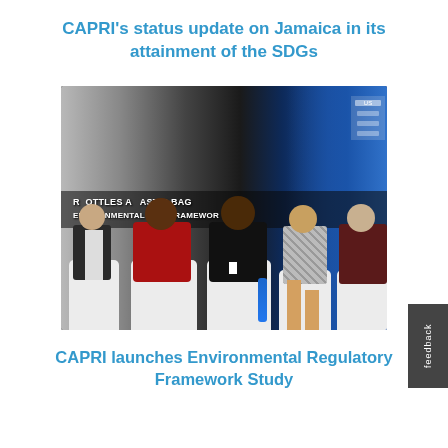CAPRI's status update on Jamaica in its attainment of the SDGs
[Figure (photo): Panel discussion photo showing five panelists seated in white chairs at a conference event with blue drape backdrop and a banner reading 'BOTTLES AND PLASTIC BAGS: ENVIRONMENTAL REGULATORY FRAMEWORK']
CAPRI launches Environmental Regulatory Framework Study